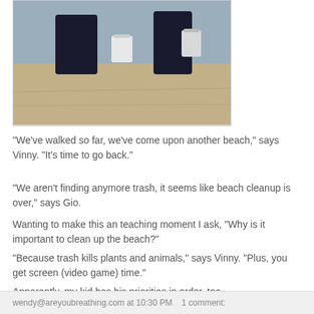[Figure (photo): Photo of two people on a sandy beach with white buckets, background shows sand and water]
"We've walked so far, we've come upon another beach," says Vinny. "It's time to go back."
"We aren't finding anymore trash, it seems like beach cleanup is over," says Gio.
Wanting to make this an teaching moment I ask, "Why is it important to clean up the beach?"
"Because trash kills plants and animals," says Vinny. "Plus, you get screen (video game) time."
Apparently, my kid has his priorities in order, too.
wendy@areyoubreathing.com at 10:30 PM   1 comment: